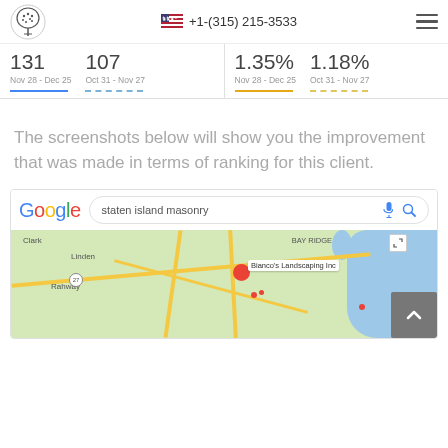[Figure (screenshot): Website header with tree logo, phone number +1-(315) 215-3533, and hamburger menu]
[Figure (screenshot): Analytics stats bar showing 131 (Nov 28 - Dec 25), 107 (Oct 31 - Nov 27), 1.35% (Nov 28 - Dec 25), 1.18% (Oct 31 - Nov 27) with colored line indicators]
The screenshots below will show you the improvement that was made in terms of ranking for this client.
[Figure (screenshot): Google search bar with query 'staten island masonry' and a Google Maps result showing Bianco's Landscaping Inc area]